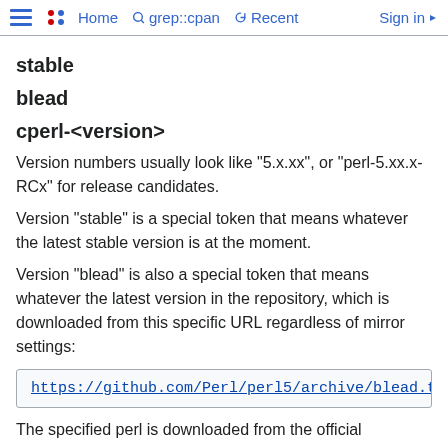Home  grep::cpan  Recent  Sign in
stable
blead
cperl-<version>
Version numbers usually look like "5.x.xx", or "perl-5.xx.x-RCx" for release candidates.
Version "stable" is a special token that means whatever the latest stable version is at the moment.
Version "blead" is also a special token that means whatever the latest version in the repository, which is downloaded from this specific URL regardless of mirror settings:
https://github.com/Perl/perl5/archive/blead.tar
The specified perl is downloaded from the official